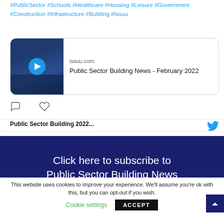#PublicSector #Schools #Healthcare #Housing #Leisure #Government #Construction #Infrastructure #Building #Issuu
[Figure (screenshot): Link preview card showing issuu.com with thumbnail image of a building with a play button overlay, titled 'Public Sector Building News - February 2022']
[Figure (screenshot): Tweet action icons: comment bubble and heart/like icon]
Public Sector Building 2022...
Click here to subscribe to Public Sector Building News
This website uses cookies to improve your experience. We'll assume you're ok with this, but you can opt-out if you wish.
Cookie settings    ACCEPT